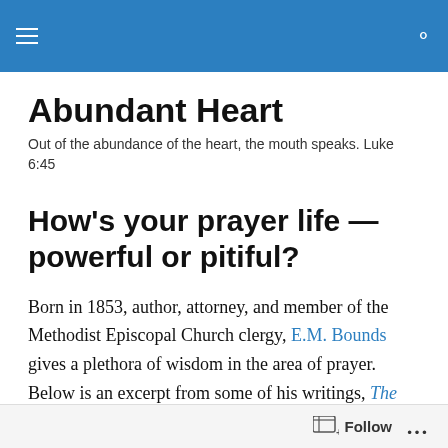Abundant Heart — navigation bar
Abundant Heart
Out of the abundance of the heart, the mouth speaks. Luke 6:45
How's your prayer life — powerful or pitiful?
Born in 1853, author, attorney, and member of the Methodist Episcopal Church clergy, E.M. Bounds gives a plethora of wisdom in the area of prayer.  Below is an excerpt from some of his writings, The Treasury of Prayer: The Best of E.M. Bounds.  His work can also be read
Follow ...